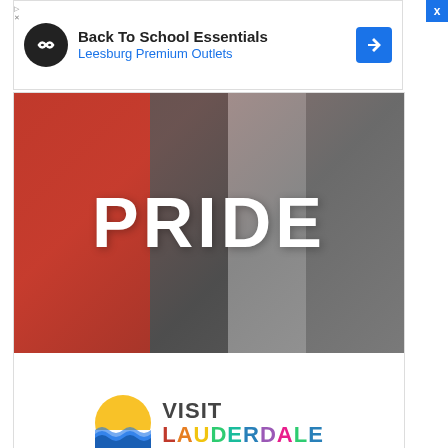[Figure (screenshot): Small advertisement banner: Back To School Essentials - Leesburg Premium Outlets with infinity loop logo and blue navigation arrow icon]
[Figure (screenshot): Large advertisement for Visit Lauderdale Pride event showing people at a pride celebration with PRIDE text overlay and Visit Lauderdale colorful logo]
According to Linda and Ben Chapman's legal complaint, Dylan never notified them of her son's hospitalization or even death. Linda did not hear
[Figure (screenshot): Large bottom advertisement for Back To School Essentials - Leesburg Premium Outlets with large infinity loop logo]